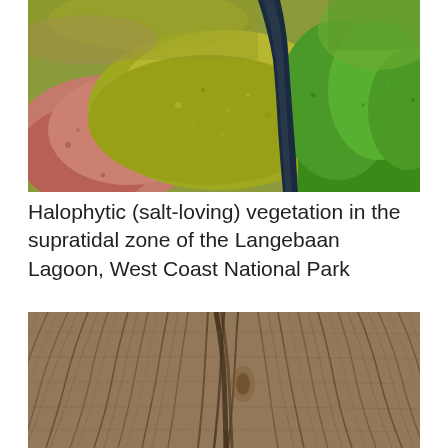[Figure (photo): Aerial or close-up photograph of halophytic (salt-loving) vegetation in the supratidal zone of the Langebaan Lagoon, West Coast National Park. Shows colorful patches of red, yellow-green, and bright green vegetation separated by a dark water channel.]
Halophytic (salt-loving) vegetation in the supratidal zone of the Langebaan Lagoon, West Coast National Park
[Figure (photo): Close-up photograph of weathered driftwood or timber showing detailed wood grain texture with parallel and slightly curved lines in brown and tan colors.]